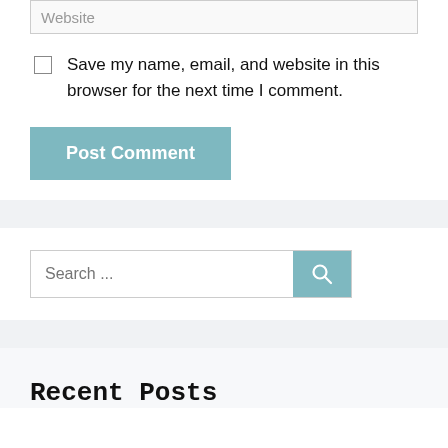Website
Save my name, email, and website in this browser for the next time I comment.
Post Comment
Search ...
Recent Posts